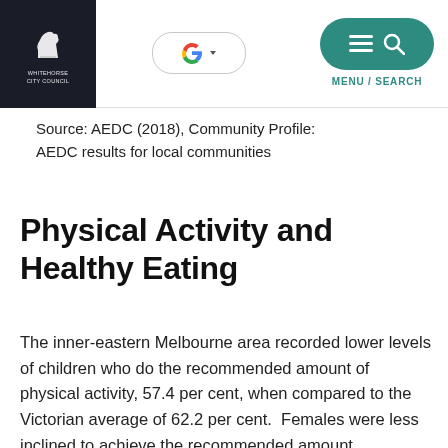Whitehorse City Council — Navigation header with Google translate and Menu/Search
Source: AEDC (2018), Community Profile: AEDC results for local communities
Physical Activity and Healthy Eating
The inner-eastern Melbourne area recorded lower levels of children who do the recommended amount of physical activity, 57.4 per cent, when compared to the Victorian average of 62.2 per cent. Females were less inclined to achieve the recommended amount